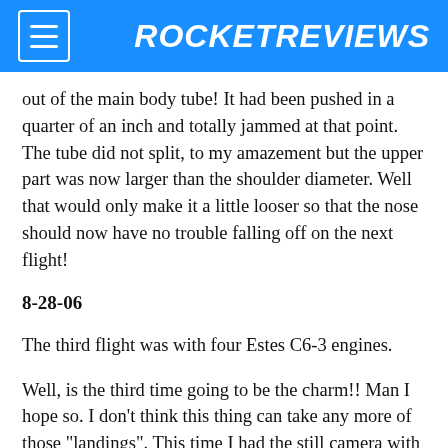ROCKETREVIEWS
out of the main body tube! It had been pushed in a quarter of an inch and totally jammed at that point. The tube did not split, to my amazement but the upper part was now larger than the shoulder diameter. Well that would only make it a little looser so that the nose should now have no trouble falling off on the next flight!
8-28-06
The third flight was with four Estes C6-3 engines.
Well, is the third time going to be the charm!! Man I hope so. I don’t think this thing can take any more of those "landings". This time I had the still camera with me and was hoping to get multiple shots as it went up and came down. The camera was set for sequential shots, everything was checked again and I let it rip. WOW, all four came to life and up it went!! Straight and true!!! I just kept the camera